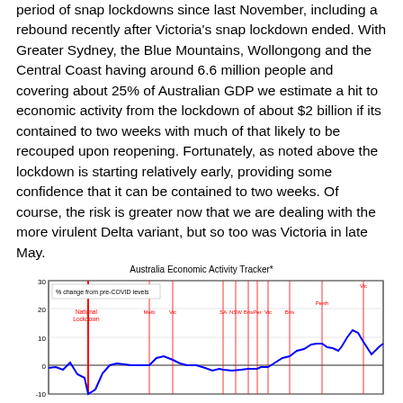period of snap lockdowns since last November, including a rebound recently after Victoria's snap lockdown ended. With Greater Sydney, the Blue Mountains, Wollongong and the Central Coast having around 6.6 million people and covering about 25% of Australian GDP we estimate a hit to economic activity from the lockdown of about $2 billion if its contained to two weeks with much of that likely to be recouped upon reopening. Fortunately, as noted above the lockdown is starting relatively early, providing some confidence that it can be contained to two weeks. Of course, the risk is greater now that we are dealing with the more virulent Delta variant, but so too was Victoria in late May.
[Figure (line-chart): Line chart showing Australia Economic Activity Tracker as % change from pre-COVID levels, with vertical red lines marking various snap lockdowns (National Lockdown, Melb, Vic, SA, NSW, Bris, Per, Vic, Bris, Perth, Vic). The blue line shows fluctuations from about -10 to +20.]